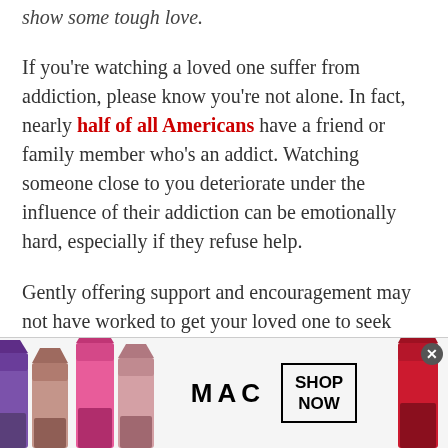show some tough love.
If you're watching a loved one suffer from addiction, please know you're not alone. In fact, nearly half of all Americans have a friend or family member who's an addict. Watching someone close to you deteriorate under the influence of their addiction can be emotionally hard, especially if they refuse help.
Gently offering support and encouragement may not have worked to get your loved one to seek treatment. However, there's still several ways to support an addict, without encouraging their addiction. When an
[Figure (advertisement): MAC cosmetics advertisement showing colorful lipsticks on the left, MAC logo in center, a SHOP NOW button, and a red lipstick on the right]